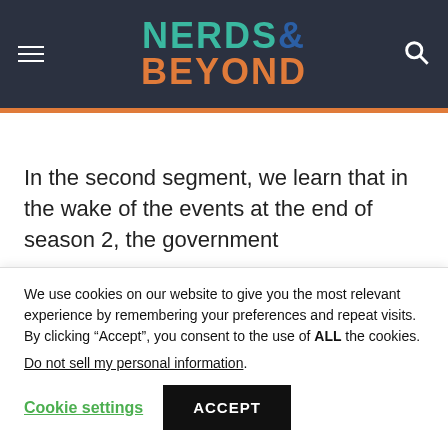[Figure (logo): Nerds & Beyond website logo with hamburger menu and search icon on dark navy header]
In the second segment, we learn that in the wake of the events at the end of season 2, the government
We use cookies on our website to give you the most relevant experience by remembering your preferences and repeat visits. By clicking “Accept”, you consent to the use of ALL the cookies.
Do not sell my personal information.
Cookie settings  ACCEPT